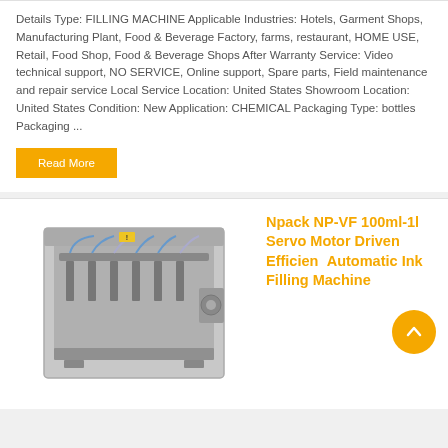Details Type: FILLING MACHINE Applicable Industries: Hotels, Garment Shops, Manufacturing Plant, Food & Beverage Factory, farms, restaurant, HOME USE, Retail, Food Shop, Food & Beverage Shops After Warranty Service: Video technical support, NO SERVICE, Online support, Spare parts, Field maintenance and repair service Local Service Location: United States Showroom Location: United States Condition: New Application: CHEMICAL Packaging Type: bottles Packaging ...
Read More
[Figure (photo): Industrial filling machine - gray metal cabinet with multiple filling nozzles and tubing]
Npack NP-VF 100ml-1l Servo Motor Driven Efficient Automatic Ink Filling Machine